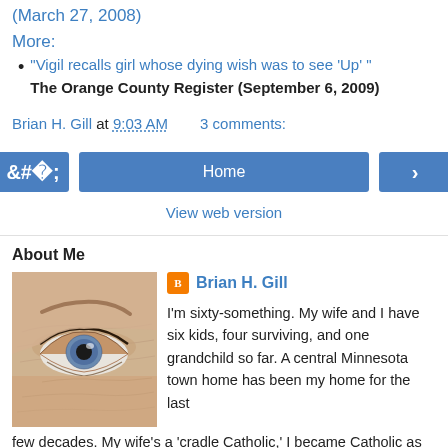(March 27, 2008)
More:
"Vigil recalls girl whose dying wish was to see 'Up'" The Orange County Register (September 6, 2009)
Brian H. Gill at 9:03 AM   3 comments:
[Figure (screenshot): Navigation bar with left arrow, Home button, and right arrow buttons, plus View web version link]
About Me
[Figure (photo): Close-up photo of an eye]
Brian H. Gill
I'm sixty-something. My wife and I have six kids, four surviving, and one grandchild so far. A central Minnesota town home has been my home for the last few decades. My wife's a 'cradle Catholic,' I became Catholic as an adult. I take my faith seriously, but not grimly. I mostly read, write and make the occasional digital picture. Not necessarily in that